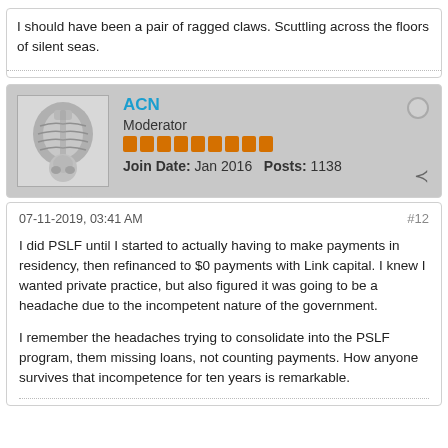I should have been a pair of ragged claws. Scuttling across the floors of silent seas.
ACN
Moderator
Join Date: Jan 2016   Posts: 1138
07-11-2019, 03:41 AM
#12
I did PSLF until I started to actually having to make payments in residency, then refinanced to $0 payments with Link capital. I knew I wanted private practice, but also figured it was going to be a headache due to the incompetent nature of the government.

I remember the headaches trying to consolidate into the PSLF program, them missing loans, not counting payments. How anyone survives that incompetence for ten years is remarkable.